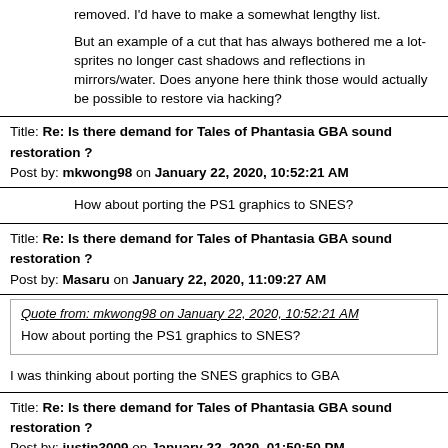removed. I'd have to make a somewhat lengthy list.
But an example of a cut that has always bothered me a lot- sprites no longer cast shadows and reflections in mirrors/water. Does anyone here think those would actually be possible to restore via hacking?
Title: Re: Is there demand for Tales of Phantasia GBA sound restoration ?
Post by: mkwong98 on January 22, 2020, 10:52:21 AM
How about porting the PS1 graphics to SNES?
Title: Re: Is there demand for Tales of Phantasia GBA sound restoration ?
Post by: Masaru on January 22, 2020, 11:09:27 AM
Quote from: mkwong98 on January 22, 2020, 10:52:21 AM
How about porting the PS1 graphics to SNES?
I was thinking about porting the SNES graphics to GBA
Title: Re: Is there demand for Tales of Phantasia GBA sound restoration ?
Post by: justin3009 on January 22, 2020, 01:50:50 PM